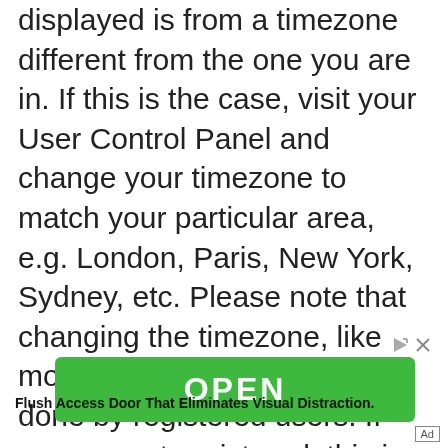displayed is from a timezone different from the one you are in. If this is the case, visit your User Control Panel and change your timezone to match your particular area, e.g. London, Paris, New York, Sydney, etc. Please note that changing the timezone, like most settings, can only be done by registered users. If you are not registered, this is a good time to do so.
[Figure (other): Green OPEN button advertisement with play and close icons]
Flush Access Door That Eliminates Visual Distraction.